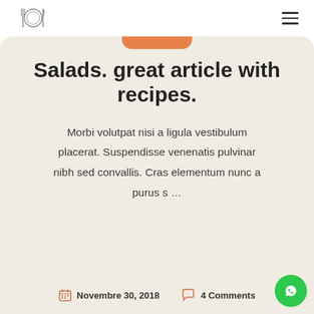Logo and navigation header
Salads. great article with recipes.
Morbi volutpat nisi a ligula vestibulum placerat. Suspendisse venenatis pulvinar nibh sed convallis. Cras elementum nunc a purus s ...
Novembre 30, 2018  4 Comments